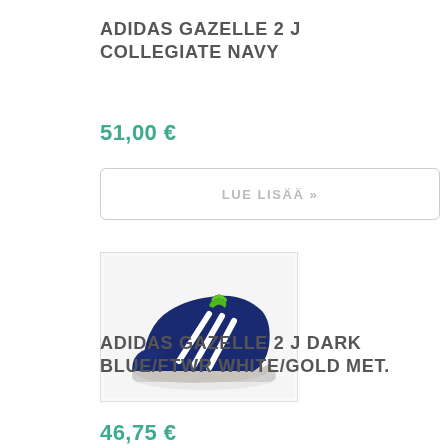ADIDAS GAZELLE 2 J COLLEGIATE NAVY
51,00 €
LUE LISÄÄ »
[Figure (photo): Blue Adidas Gazelle 2 J sneaker with white three stripes and green lining, viewed from the side on white background]
ADIDAS GAZELLE 2 J DARK BLUE/FTWR WHITE/GOLD MET.
46,75 €